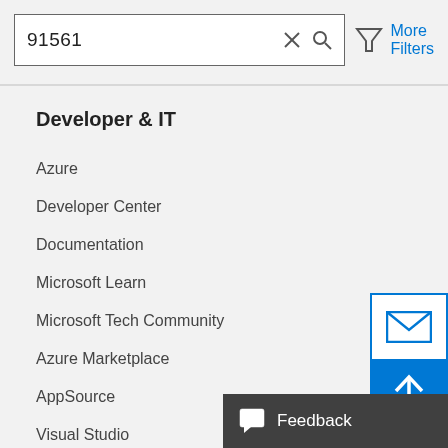91561
Developer & IT
Azure
Developer Center
Documentation
Microsoft Learn
Microsoft Tech Community
Azure Marketplace
AppSource
Visual Studio
Company
[Figure (other): Email/newsletter subscription widget with envelope icon and upload arrow icon]
Feedback